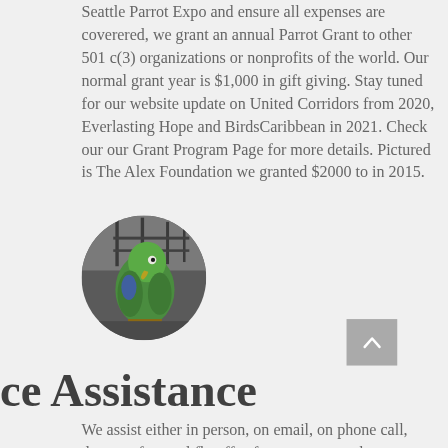Seattle Parrot Expo and ensure all expenses are coverered, we grant an annual Parrot Grant to other 501 c(3) organizations or nonprofits of the world.  Our normal grant year is $1,000 in gift giving.  Stay tuned for our website update on United Corridors from 2020, Everlasting Hope and BirdsCaribbean in 2021.   Check our our Grant Program Page for more details.  Pictured is The Alex Foundation we granted $2000 to in 2015.
[Figure (photo): A circular cropped photo of a green parrot perched, with an industrial/scaffolding background.]
ce Assistance
We assist either in person, on email, on phone call, dozens of annual fly offs of parrots across the country.  We have walked